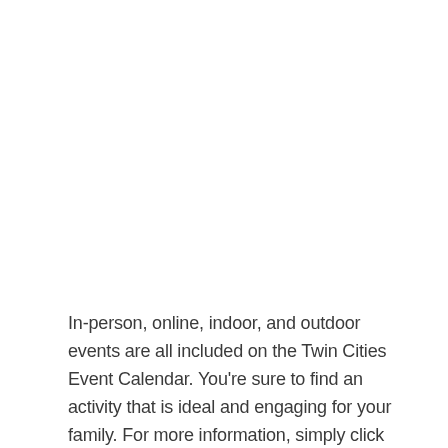In-person, online, indoor, and outdoor events are all included on the Twin Cities Event Calendar. You're sure to find an activity that is ideal and engaging for your family. For more information, simply click the event, and you'll be given all of the details, including date, time,